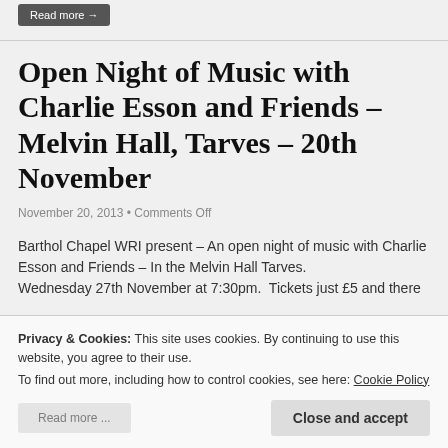Read more →
Open Night of Music with Charlie Esson and Friends – Melvin Hall, Tarves – 20th November
November 20, 2013 • Comments Off
Barthol Chapel WRI present – An open night of music with Charlie Esson and Friends – In the Melvin Hall Tarves. Wednesday 27th November at 7:30pm.  Tickets just £5 and there
Privacy & Cookies: This site uses cookies. By continuing to use this website, you agree to their use. To find out more, including how to control cookies, see here: Cookie Policy
Read more ...
Close and accept